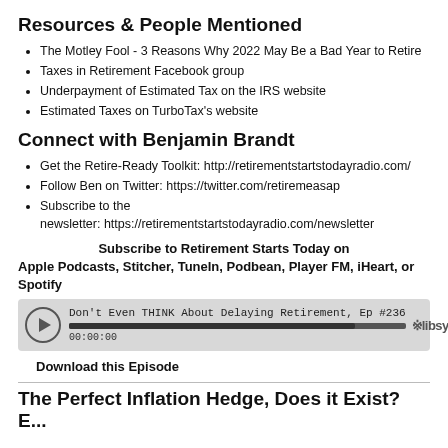Resources & People Mentioned
The Motley Fool - 3 Reasons Why 2022 May Be a Bad Year to Retire
Taxes in Retirement Facebook group
Underpayment of Estimated Tax on the IRS website
Estimated Taxes on TurboTax's website
Connect with Benjamin Brandt
Get the Retire-Ready Toolkit: http://retirementstartstodayradio.com/
Follow Ben on Twitter: https://twitter.com/retiremeasap
Subscribe to the newsletter: https://retirementstartstodayradio.com/newsletter
Subscribe to Retirement Starts Today on
Apple Podcasts, Stitcher, TuneIn, Podbean, Player FM, iHeart, or Spotify
[Figure (other): Audio player widget showing episode: Don't Even THINK About Delaying Retirement, Ep #236, time 00:00:00, with play button and progress bar, Libsyn branding]
Download this Episode
The Perfect Inflation Hedge, Does it Exist? E...